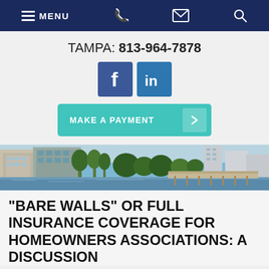MENU  [phone icon]  [email icon]  [search icon]
TAMPA: 813-964-7878
[Figure (infographic): Facebook and LinkedIn social media icon buttons]
[Figure (infographic): Make A Payment button with right arrow]
[Figure (photo): Waterfront scene with buildings, palm trees, and a wooden boardwalk/pier]
“BARE WALLS” OR FULL INSURANCE COVERAGE FOR HOMEOWNERS ASSOCIATIONS: A DISCUSSION